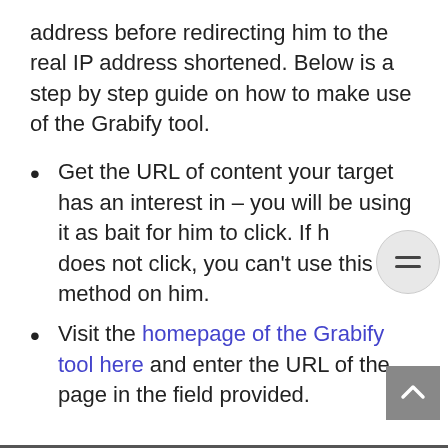address before redirecting him to the real IP address shortened. Below is a step by step guide on how to make use of the Grabify tool.
Get the URL of content your target has an interest in – you will be using it as bait for him to click. If he does not click, you can't use this method on him.
Visit the homepage of the Grabify tool here and enter the URL of the page in the field provided.